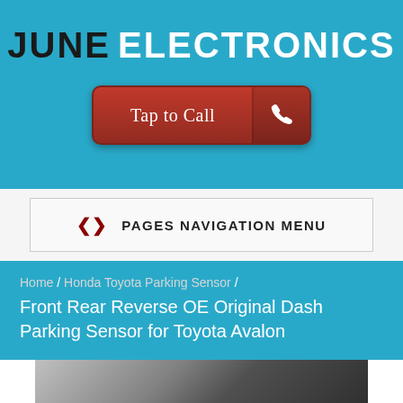JUNE ELECTRONICS
[Figure (other): Red 'Tap to Call' button with phone icon]
PAGES NAVIGATION MENU
Home / Honda Toyota Parking Sensor / Front Rear Reverse OE Original Dash Parking Sensor for Toyota Avalon
[Figure (photo): Partial photo of a car dashboard/rear view]